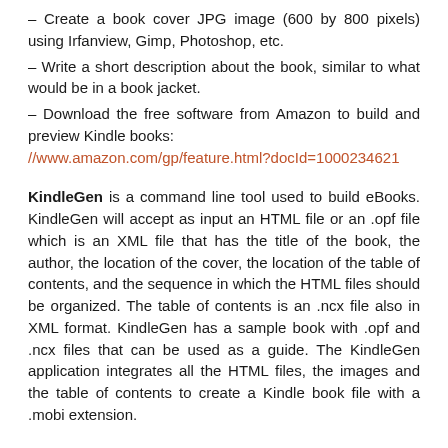– Create a book cover JPG image (600 by 800 pixels) using Irfanview, Gimp, Photoshop, etc.
– Write a short description about the book, similar to what would be in a book jacket.
– Download the free software from Amazon to build and preview Kindle books: //www.amazon.com/gp/feature.html?docId=1000234621
KindleGen is a command line tool used to build eBooks. KindleGen will accept as input an HTML file or an .opf file which is an XML file that has the title of the book, the author, the location of the cover, the location of the table of contents, and the sequence in which the HTML files should be organized. The table of contents is an .ncx file also in XML format. KindleGen has a sample book with .opf and .ncx files that can be used as a guide. The KindleGen application integrates all the HTML files, the images and the table of contents to create a Kindle book file with a .mobi extension.